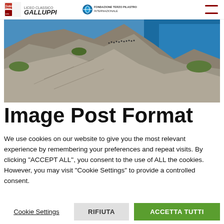Gutenberg | Liceo Classico Galluppi | Fondazione Terzo Pilastro Internazionale
[Figure (photo): Aerial or elevated view of rocky coastal cliffs with people on top and blue sea in the background]
Image Post Format
We use cookies on our website to give you the most relevant experience by remembering your preferences and repeat visits. By clicking "ACCEPT ALL", you consent to the use of ALL the cookies. However, you may visit "Cookie Settings" to provide a controlled consent.
Cookie Settings | RIFIUTA | ACCETTA TUTTI